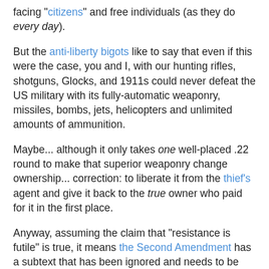facing "citizens" and free individuals (as they do every day).
But the anti-liberty bigots like to say that even if this were the case, you and I, with our hunting rifles, shotguns, Glocks, and 1911s could never defeat the US military with its fully-automatic weaponry, missiles, bombs, jets, helicopters and unlimited amounts of ammunition.
Maybe... although it only takes one well-placed .22 round to make that superior weaponry change ownership... correction: to liberate it from the thief's agent and give it back to the true owner who paid for it in the first place.
Anyway, assuming the claim that "resistance is futile" is true, it means the Second Amendment has a subtext that has been ignored and needs to be rediscovered.
It means the military must be disarmed until they are no longer a threat to individuals intent on restoring liberty.  They must be rendered technologically inferior to deer hunters and farmers and inner city gangbangers.  All the weaponry which has made the military a superior fighting force must be